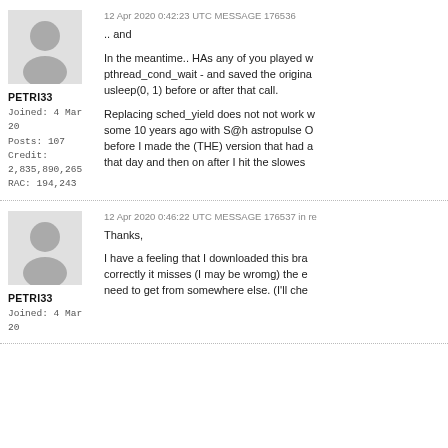[Figure (illustration): Grey silhouette avatar icon for user PETRI33]
PETRI33
Joined: 4 Mar 20
Posts: 107
Credit: 2,835,890,265
RAC: 194,243
12 Apr 2020 0:42:23 UTC MESSAGE 176536
.. and

In the meantime.. HAs any of you played w pthread_cond_wait - and saved the origina usleep(0, 1) before or after that call.

Replacing sched_yield does not not work w some 10 years ago with S@h astropulse O before I made the (THE) version that had a that day and then on after I hit the slowes
[Figure (illustration): Grey silhouette avatar icon for user PETRI33]
PETRI33
Joined: 4 Mar 20
12 Apr 2020 0:46:22 UTC MESSAGE 176537 in re
Thanks,

I have a feeling that I downloaded this bra correctly it misses (I may be wromg) the e need to get from somewhere else. (I'll che